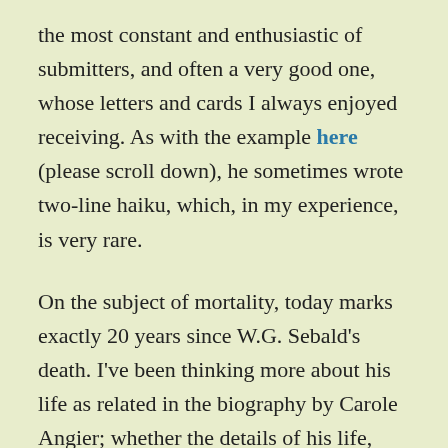the most constant and enthusiastic of submitters, and often a very good one, whose letters and cards I always enjoyed receiving. As with the example here (please scroll down), he sometimes wrote two-line haiku, which, in my experience, is very rare.
On the subject of mortality, today marks exactly 20 years since W.G. Sebald's death. I've been thinking more about his life as related in the biography by Carole Angier; whether the details of his life, research and writing practices add to or detract from my understanding and evaluation of his writing. What's perhaps as intriguing as anything about his life is the